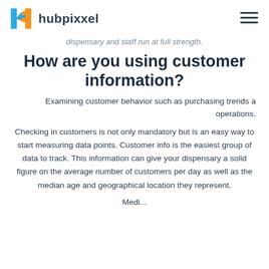hubpixxel
dispensary and staff run at full strength.
How are you using customer information?
Examining customer behavior such as purchasing trends a operations.
Checking in customers is not only mandatory but is an easy way to start measuring data points. Customer info is the easiest group of data to track. This information can give your dispensary a solid figure on the average number of customers per day as well as the median age and geographical location they represent.
Medi...